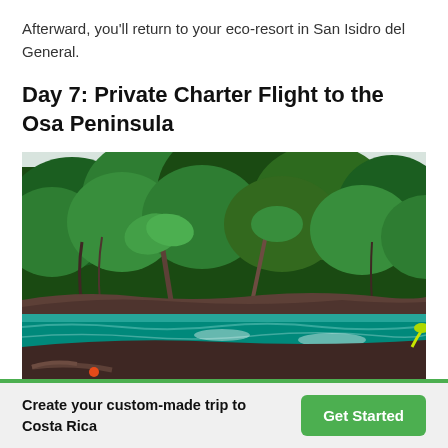Afterward, you'll return to your eco-resort in San Isidro del General.
Day 7: Private Charter Flight to the Osa Peninsula
[Figure (photo): Tropical beach scene showing dense green jungle/rainforest meeting a turquoise-teal ocean with dark volcanic rocks and dark sand beach on the Osa Peninsula, Costa Rica.]
Create your custom-made trip to Costa Rica
Get Started